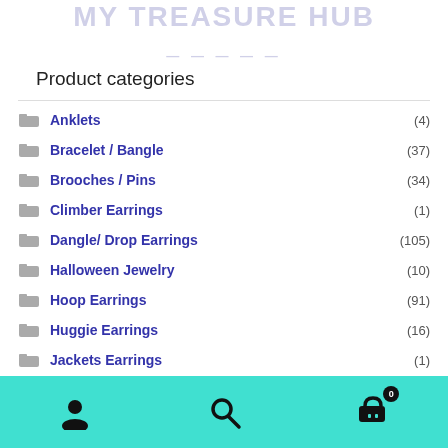MY TREASURE HUB
Product categories
Anklets (4)
Bracelet / Bangle (37)
Brooches / Pins (34)
Climber Earrings (1)
Dangle/ Drop Earrings (105)
Halloween Jewelry (10)
Hoop Earrings (91)
Huggie Earrings (16)
Jackets Earrings (1)
Navigation bar with user, search, and cart icons